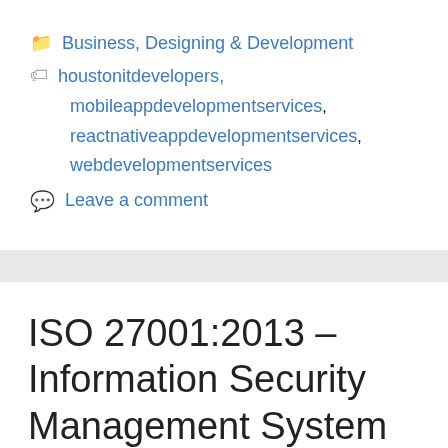Categories: Business, Designing & Development
Tags: houstonitdevelopers, mobileappdevelopmentservices, reactnativeappdevelopmentservices, webdevelopmentservices
Leave a comment
ISO 27001:2013 – Information Security Management System certification | 2022
March 4, 2022 by Facto Team